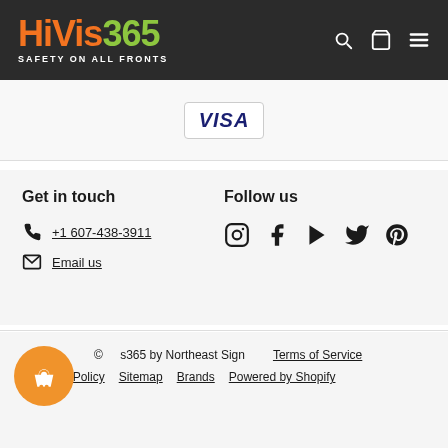HiVis365 SAFETY ON ALL FRONTS
[Figure (logo): VISA payment badge with blue italic text inside a bordered rectangle]
Get in touch
+1 607-438-3911
Email us
Follow us
[Figure (infographic): Social media icons: Instagram, Facebook, YouTube, Twitter, Pinterest]
© HiVis365 by Northeast Sign   Terms of Service   Privacy Policy   Sitemap   Brands   Powered by Shopify